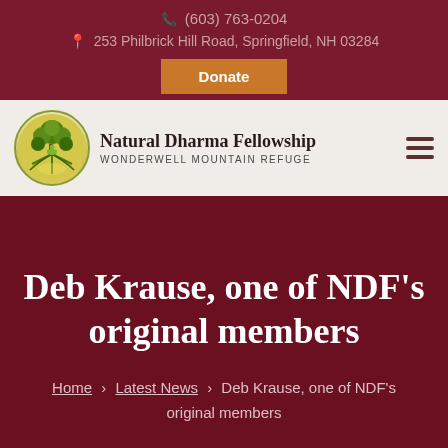(603) 763-0204
253 Philbrick Hill Road, Springfield, NH 03284
Donate
[Figure (logo): Natural Dharma Fellowship logo — circular emblem with a meditating figure under a green tree, yellow-green background]
Natural Dharma Fellowship — WONDERWELL MOUNTAIN REFUGE
Deb Krause, one of NDF's original members
Home › Latest News › Deb Krause, one of NDF's original members